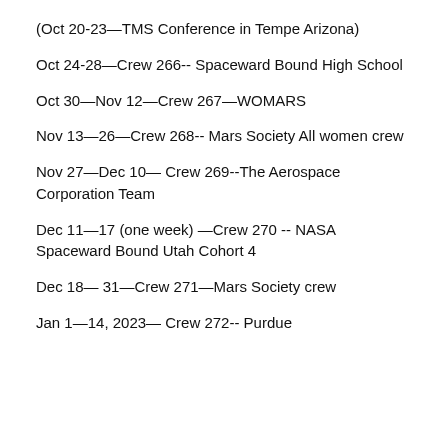(Oct 20-23—TMS Conference in Tempe Arizona)
Oct 24-28—Crew 266-- Spaceward Bound High School
Oct 30—Nov 12—Crew 267—WOMARS
Nov 13—26—Crew 268-- Mars Society All women crew
Nov 27—Dec 10— Crew 269--The Aerospace Corporation Team
Dec 11—17 (one week) —Crew 270 -- NASA Spaceward Bound Utah Cohort 4
Dec 18— 31—Crew 271—Mars Society crew
Jan 1—14, 2023— Crew 272-- Purdue